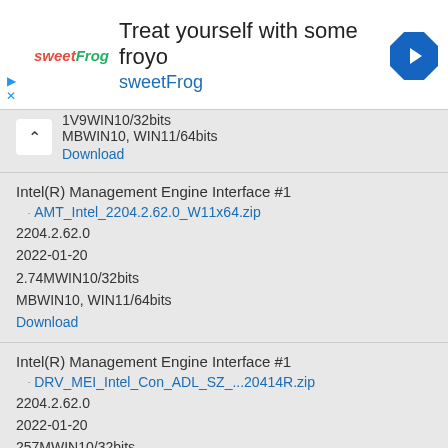[Figure (screenshot): SweetFrog advertisement banner with logo, text 'Treat yourself with some froyo sweetFrog', and a navigation icon]
1V9 WIN10/32bits MB WIN10, WIN11/64bits Download
Intel(R) Management Engine Interface #1 AMT_Intel_2204.2.62.0_W11x64.zip 2204.2.62.0 2022-01-20 2.74M WIN10/32bits MB WIN10, WIN11/64bits Download
Intel(R) Management Engine Interface #1 DRV_MEI_Intel_Con_ADL_SZ_...20414R.zip 2204.2.62.0 2022-01-20 257M WIN10/32bits MB WIN10, WIN11/64bits Download
Intel(R) Management Engine Interface #1